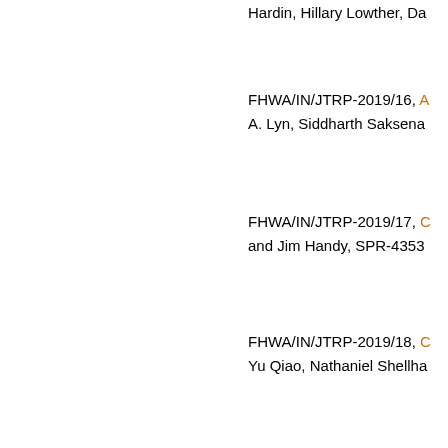Hardin, Hillary Lowther, Da
FHWA/IN/JTRP-2019/16, A. Lyn, Siddharth Saksena
FHWA/IN/JTRP-2019/17, and Jim Handy, SPR-4353
FHWA/IN/JTRP-2019/18, Yu Qiao, Nathaniel Shellha
FHWA/IN/JTRP-2019/19, cking Tests r, SPR-41
2019/20, D th V. Iyer, S
FHWA/IN/JTRP-2019/21
We use cookies to help provide and enhance our service and tailor content. By closing this message, you agree to the use of cookies.
Close